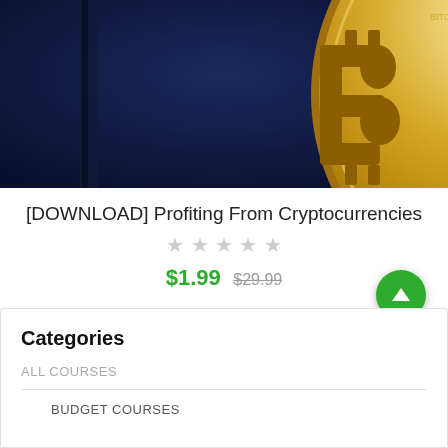[Figure (photo): Bitcoin gold coin on dark blue background]
[DOWNLOAD] Profiting From Cryptocurrencies
★ ★ ★ ★ ★ (empty stars, gray)
$1.99  $29.99
Categories
ALL COURSES
BUDGET COURSES